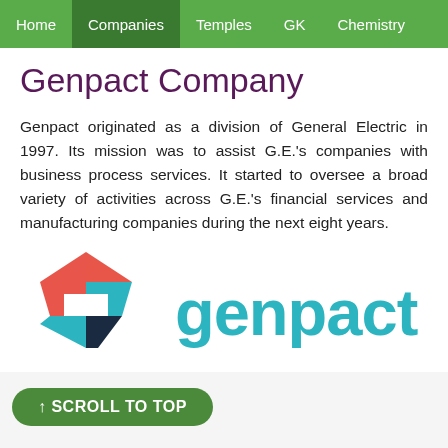Home  Companies  Temples  GK  Chemistry
Genpact Company
Genpact originated as a division of General Electric in 1997. Its mission was to assist G.E.'s companies with business process services. It started to oversee a broad variety of activities across G.E.'s financial services and manufacturing companies during the next eight years.
[Figure (logo): Genpact company logo with geometric house-shaped icon in red, teal and dark navy colors, and the word 'genpact' in teal lettering]
↑ SCROLL TO TOP